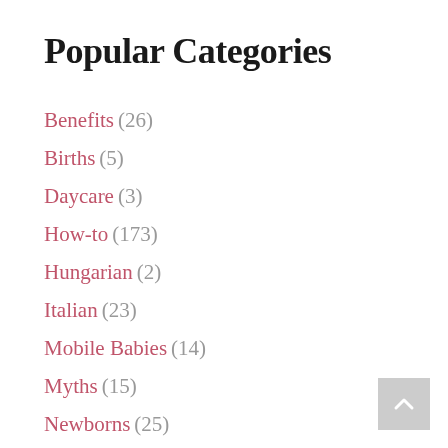Popular Categories
Benefits (26)
Births (5)
Daycare (3)
How-to (173)
Hungarian (2)
Italian (23)
Mobile Babies (14)
Myths (15)
Newborns (25)
Nighttime (18)
Part-time (19)
Philosophy (48)